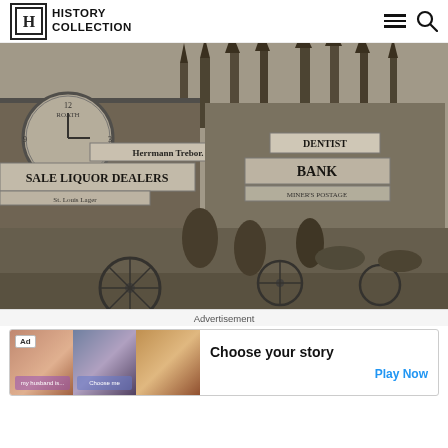HISTORY COLLECTION
[Figure (photo): Black and white historical photograph of a busy frontier town street scene, likely from the American West in the late 1800s. Visible signs include 'ROATH' clock, 'Herrmann Trebor', 'SALE LIQUOR DEALERS', 'DENTIST', 'BANK', 'MINER'S POSTAGE'. Wagons, horses, and many people fill the muddy street. Dense pine forest visible in background.]
Advertisement
[Figure (screenshot): Advertisement banner with 'Ad' badge, showing three romantic/story images on the left, and text 'Choose your story' with a blue 'Play Now' button on the right.]